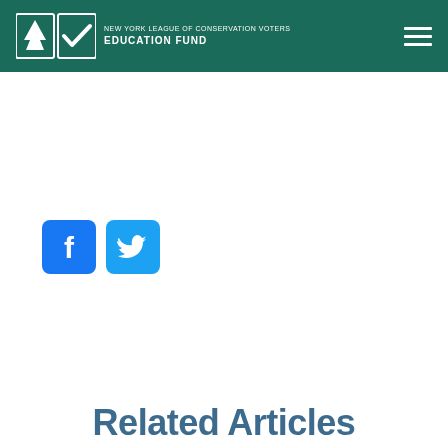NEW YORK LEAGUE OF CONSERVATION VOTERS EDUCATION FUND
[Figure (logo): New York League of Conservation Voters Education Fund logo with tree and checkmark icons]
[Figure (infographic): Facebook and Twitter social media share buttons]
Related Articles